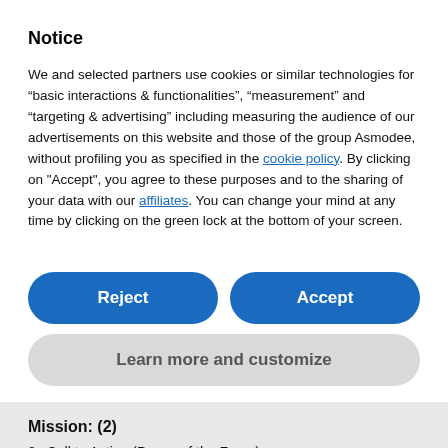Notice
We and selected partners use cookies or similar technologies for “basic interactions & functionalities”, “measurement” and “targeting & advertising” including measuring the audience of our advertisements on this website and those of the group Asmodee, without profiling you as specified in the cookie policy. By clicking on "Accept", you agree to these purposes and to the sharing of your data with our affiliates. You can change your mind at any time by clicking on the green lock at the bottom of your screen.
Reject
Accept
Learn more and customize
Mission: (2)
2x Call to Action (Power of the Force)